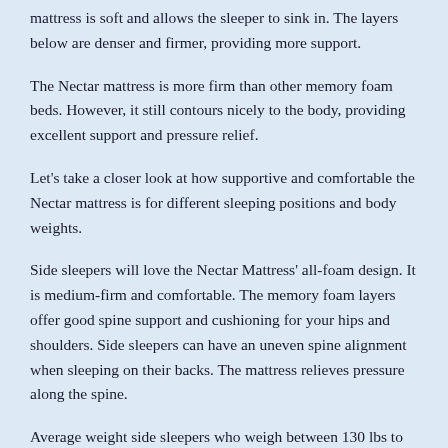mattress is soft and allows the sleeper to sink in. The layers below are denser and firmer, providing more support.
The Nectar mattress is more firm than other memory foam beds. However, it still contours nicely to the body, providing excellent support and pressure relief.
Let's take a closer look at how supportive and comfortable the Nectar mattress is for different sleeping positions and body weights.
Side sleepers will love the Nectar Mattress' all-foam design. It is medium-firm and comfortable. The memory foam layers offer good spine support and cushioning for your hips and shoulders. Side sleepers can have an uneven spine alignment when sleeping on their backs. The mattress relieves pressure along the spine.
Average weight side sleepers who weigh between 130 lbs to 230 lbs will find the mattress supportive and comfortable enough…